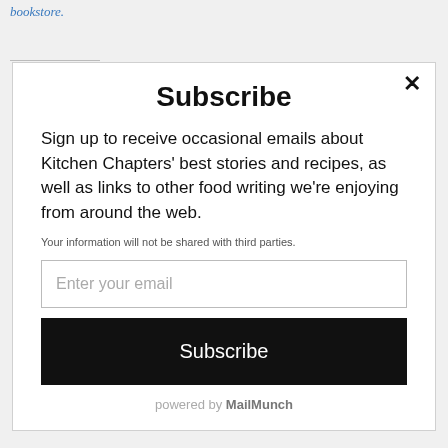bookstore.
Subscribe
Sign up to receive occasional emails about Kitchen Chapters' best stories and recipes, as well as links to other food writing we're enjoying from around the web.
Your information will not be shared with third parties.
Enter your email
Subscribe
powered by MailMunch